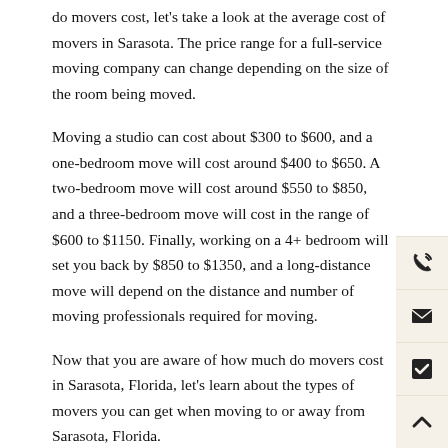do movers cost, let's take a look at the average cost of movers in Sarasota. The price range for a full-service moving company can change depending on the size of the room being moved.
Moving a studio can cost about $300 to $600, and a one-bedroom move will cost around $400 to $650. A two-bedroom move will cost around $550 to $850, and a three-bedroom move will cost in the range of $600 to $1150. Finally, working on a 4+ bedroom will set you back by $850 to $1350, and a long-distance move will depend on the distance and number of moving professionals required for moving.
Now that you are aware of how much do movers cost in Sarasota, Florida, let's learn about the types of movers you can get when moving to or away from Sarasota, Florida.
Types of Moves
Although there are several different types of moving services available from Sarasota Sunshine Movers, there is a need for only two different types of moving services that will assist you in